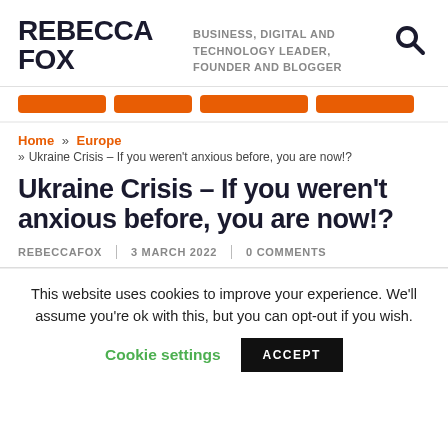REBECCA FOX — BUSINESS, DIGITAL AND TECHNOLOGY LEADER, FOUNDER AND BLOGGER
[Figure (other): Navigation bar with four orange pill-shaped menu buttons]
Home » Europe » Ukraine Crisis – If you weren't anxious before, you are now!?
Ukraine Crisis – If you weren't anxious before, you are now!?
REBECCAFOX | 3 MARCH 2022 | 0 COMMENTS
This website uses cookies to improve your experience. We'll assume you're ok with this, but you can opt-out if you wish.
Cookie settings   ACCEPT